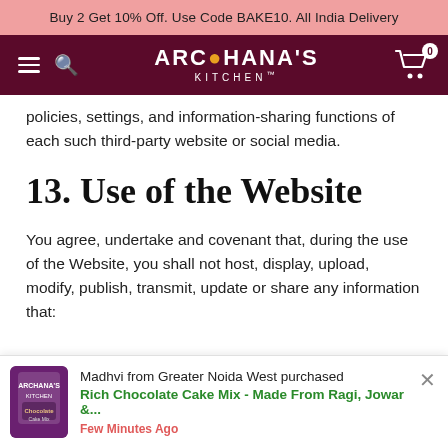Buy 2 Get 10% Off. Use Code BAKE10. All India Delivery
[Figure (screenshot): Archana's Kitchen website navigation bar with hamburger menu, search icon, logo, and cart icon with 0 items badge on dark maroon background]
policies, settings, and information-sharing functions of each such third-party website or social media.
13. Use of the Website
You agree, undertake and covenant that, during the use of the Website, you shall not host, display, upload, modify, publish, transmit, update or share any information that:
Madhvi from Greater Noida West purchased Rich Chocolate Cake Mix - Made From Ragi, Jowar &... Few Minutes Ago